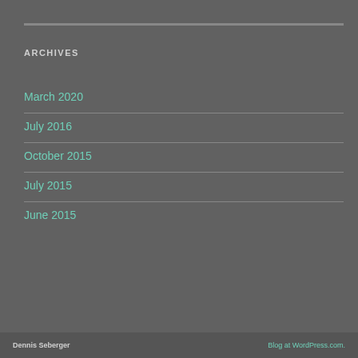ARCHIVES
March 2020
July 2016
October 2015
July 2015
June 2015
Dennis Seberger    Blog at WordPress.com.